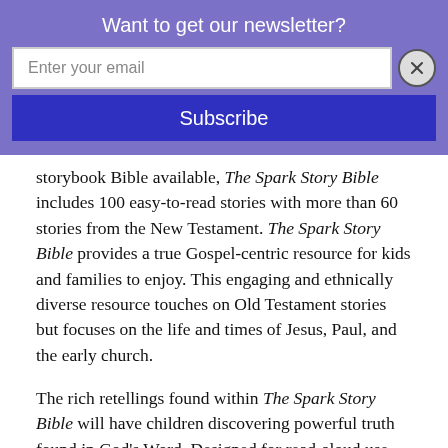Want to get our newsletter?
Enter your email
Subscribe
storybook Bible available, The Spark Story Bible includes 100 easy-to-read stories with more than 60 stories from the New Testament. The Spark Story Bible provides a true Gospel-centric resource for kids and families to enjoy. This engaging and ethnically diverse resource touches on Old Testament stories but focuses on the life and times of Jesus, Paul, and the early church.
The rich retellings found within The Spark Story Bible will have children discovering powerful truth found in God's Word. Designed for read-aloud use, the child-friendly illustrations and captivating storytelling make this story Bible perfect for home, school, or church. Fun activities and brief interactive questions help children apply what they have read to their own lives and